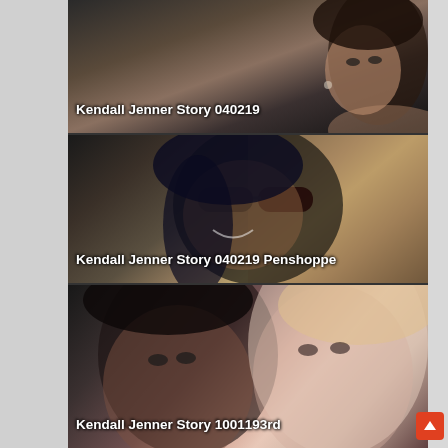[Figure (photo): Screenshot of a webpage showing three video/article thumbnails with overlaid text labels. Dark background with gray side strips. A red scroll-to-top button is visible at bottom right.]
Kendall Jenner Story 040219
Kendall Jenner Story 040219 Penshoppe
Kendall Jenner Story 1001193rd